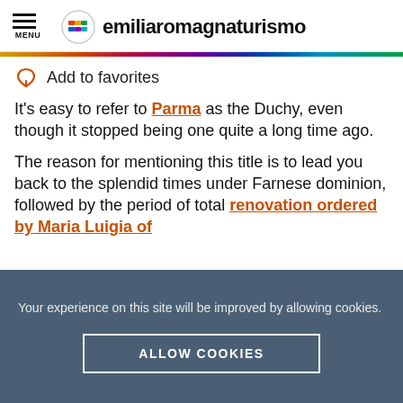MENU | emiliaromagnaturismo
Add to favorites
It's easy to refer to Parma as the Duchy, even though it stopped being one quite a long time ago.
The reason for mentioning this title is to lead you back to the splendid times under Farnese dominion, followed by the period of total renovation ordered by Maria Luigia of
Your experience on this site will be improved by allowing cookies.
ALLOW COOKIES